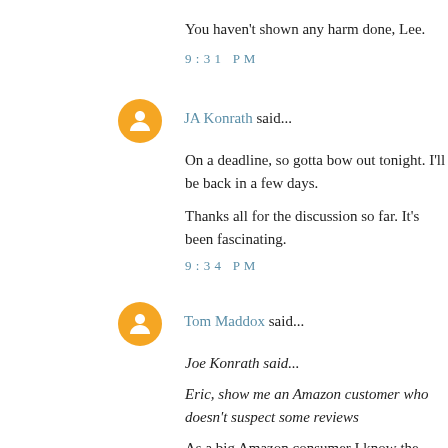You haven't shown any harm done, Lee.
9:31 PM
JA Konrath said...
On a deadline, so gotta bow out tonight. I'll be back in a few days.
Thanks all for the discussion so far. It's been fascinating.
9:34 PM
Tom Maddox said...
Joe Konrath said...
Eric, show me an Amazon customer who doesn't suspect some reviews
As a big Amazon consumer I know the reviews can be a morass of ign
I may have said this before and but I will risk saying it again. I don't w readers into buying their books.